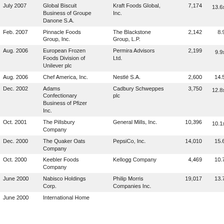| Date | Target | Acquirer | Value ($M) | Multiple |
| --- | --- | --- | --- | --- |
| July 2007 | Global Biscuit Business of Groupe Danone S.A. | Kraft Foods Global, Inc. | 7,174 | 13.6x¹ |
| Feb. 2007 | Pinnacle Foods Group, Inc. | The Blackstone Group, L.P. | 2,142 | 8.9x |
| Aug. 2006 | European Frozen Foods Division of Unilever plc | Permira Advisors Ltd. | 2,199 | 9.9x¹ |
| Aug. 2006 | Chef America, Inc. | Nestlé S.A. | 2,600 | 14.5x |
| Dec. 2002 | Adams Confectionary Business of Pfizer Inc. | Cadbury Schweppes plc | 3,750 | 12.8x¹ |
| Oct. 2001 | The Pillsbury Company | General Mills, Inc. | 10,396 | 10.1x² |
| Dec. 2000 | The Quaker Oats Company | PepsiCo, Inc. | 14,010 | 15.6x |
| Oct. 2000 | Keebler Foods Company | Kellogg Company | 4,469 | 10.7x |
| June 2000 | Nabisco Holdings Corp. | Philip Morris Companies Inc. | 19,017 | 13.7x |
| June 2000 | International Home Foods | Dean Foods | 2,500 | 9.5x |